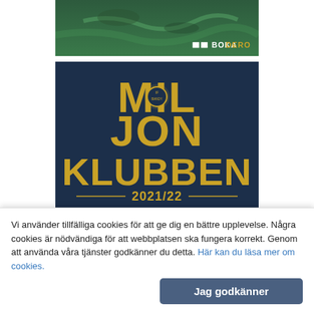[Figure (photo): Aerial landscape photo with BOKADERO logo in bottom right corner, dark green/teal tones showing terrain from above.]
[Figure (logo): Dark navy blue banner image reading 'MILJONKLUBBEN 2021/22' in large gold letters with a Bandy IF club badge/logo in the center top.]
[Figure (logo): Red background banner image with 'EDSBYN IF DAMER BANDY FRAMÅT' text and club badge, partially visible (cropped).]
Vi använder tillfälliga cookies för att ge dig en bättre upplevelse. Några cookies är nödvändiga för att webbplatsen ska fungera korrekt. Genom att använda våra tjänster godkänner du detta. Här kan du läsa mer om cookies.